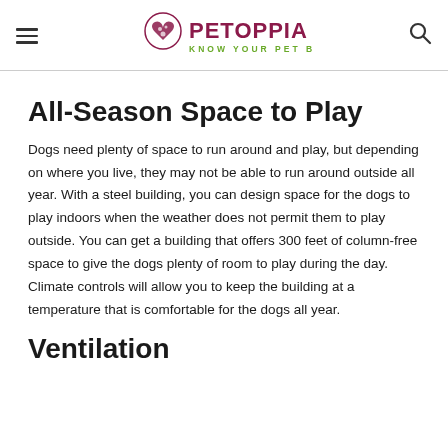PETOPPIA — KNOW YOUR PET BETTER
All-Season Space to Play
Dogs need plenty of space to run around and play, but depending on where you live, they may not be able to run around outside all year. With a steel building, you can design space for the dogs to play indoors when the weather does not permit them to play outside. You can get a building that offers 300 feet of column-free space to give the dogs plenty of room to play during the day. Climate controls will allow you to keep the building at a temperature that is comfortable for the dogs all year.
Ventilation